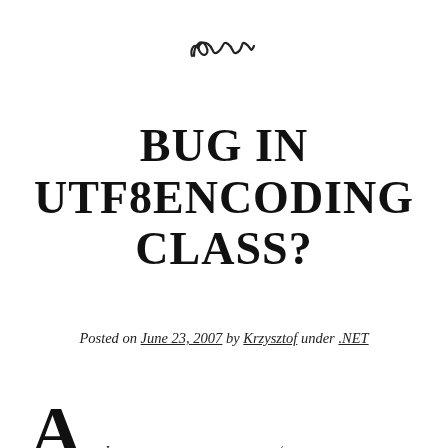[Figure (illustration): Decorative ornamental swirl/flourish divider]
BUG IN UTF8ENCODING CLASS?
Posted on June 23, 2007 by Krzysztof under .NET
As I work at TRANSLATION/LOCALIZATION